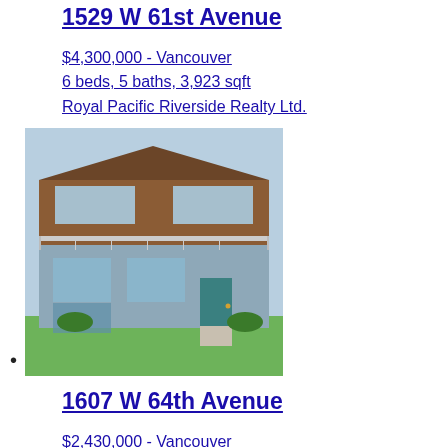1529 W 61st Avenue
$4,300,000 - Vancouver
6 beds, 5 baths, 3,923 sqft
Royal Pacific Riverside Realty Ltd.
[Figure (photo): Exterior photo of a two-story residential house with wood-panel upper facade, large windows, glass balcony railing, blue/grey lower siding, teal front door, and green lawn.]
1607 W 64th Avenue
$2,430,000 - Vancouver
5 beds, 3 baths, 2,345 sqft
eXp Realty
1598 W 65th Avenue